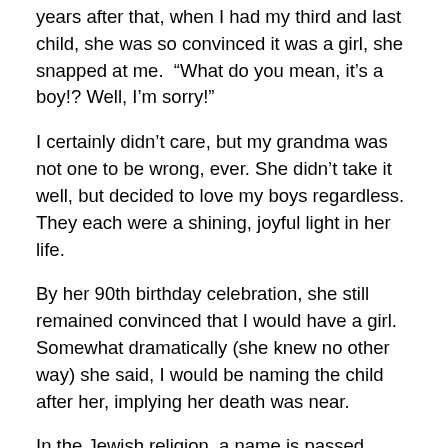years after that, when I had my third and last child, she was so convinced it was a girl, she snapped at me. “What do you mean, it’s a boy!? Well, I’m sorry!”
I certainly didn’t care, but my grandma was not one to be wrong, ever. She didn’t take it well, but decided to love my boys regardless. They each were a shining, joyful light in her life.
By her 90th birthday celebration, she still remained convinced that I would have a girl. Somewhat dramatically (she knew no other way) she said, I would be naming the child after her, implying her death was near.
In the Jewish religion, a name is passed down after a loved one passes. My grandma had been housebound for the last decade with a variety of issues, but none of them life-threatening. Still, as she put it, over and over again,